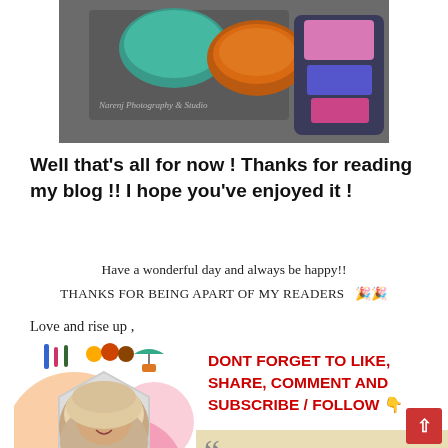[Figure (photo): Overhead photo of food bowls on a table surface, with a colorful bag visible on the right side. Watermark text visible in lower left area.]
Well that's all for now ! Thanks for reading my blog !! I hope you've enjoyed it !
Have a wonderful day and always be happy!!
THANKS FOR BEING APART OF MY READERS  🎉🎉
Love and rise up ,
[Figure (illustration): Blogger profile image with colorful artistic background, showing a woman in hijab smiling, with makeup brush icons above and the name 'Zazausters' below.]
DONT FORGET TO LIKE, SHARE, COMMENT AND SUBSCRIBE / FOLLOW 👇
Be nice, Be respectful